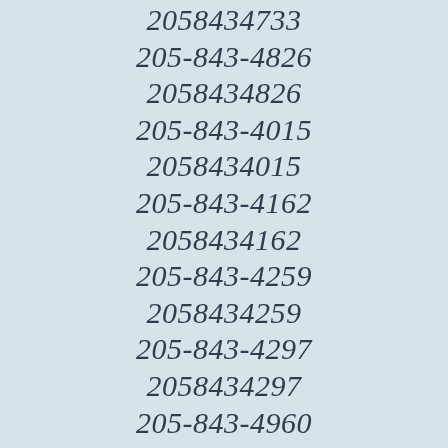2058434733
205-843-4826
2058434826
205-843-4015
2058434015
205-843-4162
2058434162
205-843-4259
2058434259
205-843-4297
2058434297
205-843-4960
2058434960
205-843-4986
2058434986
205-843-4898